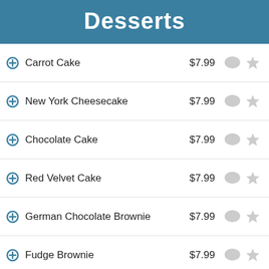Desserts
Carrot Cake $7.99
New York Cheesecake $7.99
Chocolate Cake $7.99
Red Velvet Cake $7.99
German Chocolate Brownie $7.99
Fudge Brownie $7.99
Advertisement
Continue Reading Menu Below ↓
Cheesecake Brownie $7.99
Drinks